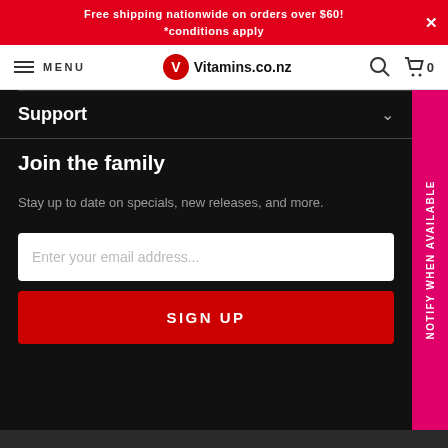Free shipping nationwide on orders over $60! *conditions apply
[Figure (screenshot): Vitamins.co.nz website navigation bar with menu icon, logo, search icon, and cart showing 0 items]
Support
Join the family
Stay up to date on specials, new releases, and more.
Enter your email address...
SIGN UP
NOTIFY WHEN AVAILABLE
Sign up!